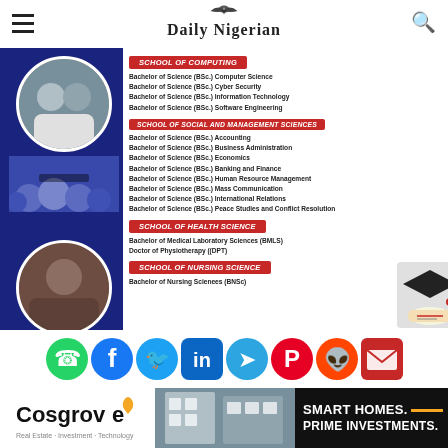Daily Nigerian
[Figure (infographic): University advertisement showing School of Computing, School of Social and Management Sciences, School of Health Science, and School of Nursing Science with programme listings, student photos on blue background.]
SCHOOL OF COMPUTING
Bachelor of Science (BSc.) Computer Science
Bachelor of Science (BSc.) Cyber Security
Bachelor of Science (BSc.) Information Technology
Bachelor of Science (BSc.) Software Engineering
SCHOOL OF SOCIAL AND MANAGEMENT SCIENCES
Bachelor of Science (BSc.) Accounting
Bachelor of Science (BSc.) Business Administration
Bachelor of Science (BSc.) Economics
Bachelor of Science (BSc.) Banking and Finance
Bachelor of Science (BSc.) Human Resource Management
Bachelor of Science (BSc.) Mass Communication
Bachelor of Science (BSc.) International Relations
Bachelor of Science (BSc.) Peace Studies and Conflict Resolution
SCHOOL OF HEALTH SCIENCE
Bachelor of Medical Laboratory Sciences (BMLS)
Doctor of Physiotherapy ((DPT)
SCHOOL OF NURSING SCIENCE
Bachelor of Nursing Sciences (BNSc)
[Figure (infographic): Social media sharing icons: WhatsApp, Facebook, Twitter, LinkedIn, Telegram, Pinterest, Reddit, Email]
[Figure (infographic): Cosgrove Real Estate advertisement: Smart Homes. Prime Investments. with building photo and logo.]